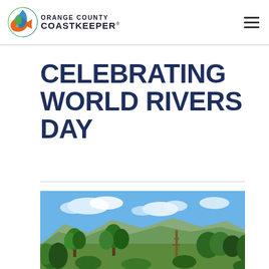ORANGE COUNTY COASTKEEPER®
CELEBRATING WORLD RIVERS DAY
[Figure (photo): Outdoor nature landscape with green trees and shrubs in the foreground, rolling mountains/hills in the background under a partly cloudy blue sky.]